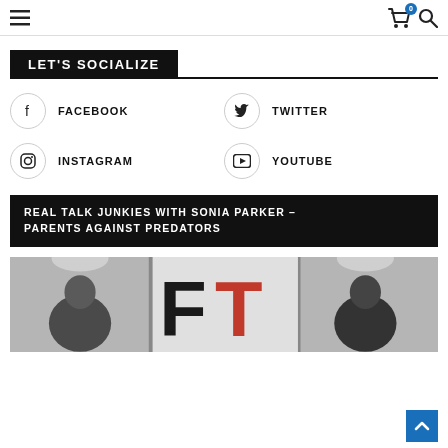Navigation bar with hamburger menu, cart (0), and search icons
LET'S SOCIALIZE
FACEBOOK
TWITTER
INSTAGRAM
YOUTUBE
REAL TALK JUNKIES WITH SONIA PARKER – PARENTS AGAINST PREDATORS
[Figure (photo): Two men seated at a table with an FT logo panel visible in the background]